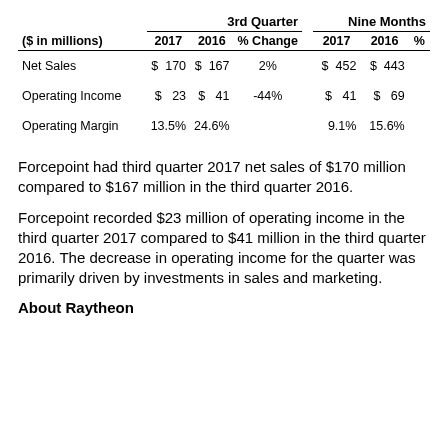| ($ in millions) | 2017 | 2016 | % Change | 2017 | 2016 | % |
| --- | --- | --- | --- | --- | --- | --- |
| Net Sales | $ 170 | $ 167 | 2% | $ 452 | $ 443 |  |
| Operating Income | $ 23 | $ 41 | -44% | $ 41 | $ 69 |  |
| Operating Margin | 13.5% | 24.6% |  | 9.1% | 15.6% |  |
Forcepoint had third quarter 2017 net sales of $170 million compared to $167 million in the third quarter 2016.
Forcepoint recorded $23 million of operating income in the third quarter 2017 compared to $41 million in the third quarter 2016. The decrease in operating income for the quarter was primarily driven by investments in sales and marketing.
About Raytheon